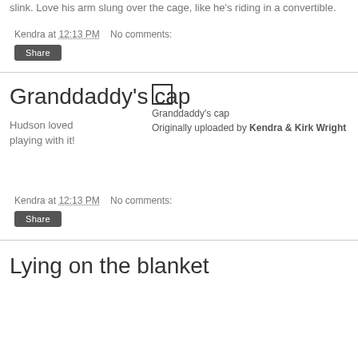slink. Love his arm slung over the cage, like he's riding in a convertible.
Kendra at 12:13 PM   No comments:
Share
Granddaddy's cap
Hudson loved playing with it!
[Figure (photo): Placeholder image box for Granddaddy's cap photo]
Granddaddy's cap
Originally uploaded by Kendra & Kirk Wright
Kendra at 12:13 PM   No comments:
Share
Lying on the blanket